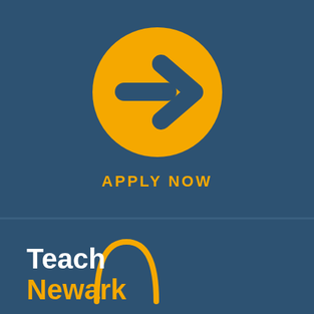[Figure (logo): Yellow circle with a dark blue right-pointing arrow/chevron icon]
APPLY NOW
[Figure (logo): Teach Newark logo: white 'Teach' and yellow 'Newark' text with a yellow arc/semi-circle behind the text]